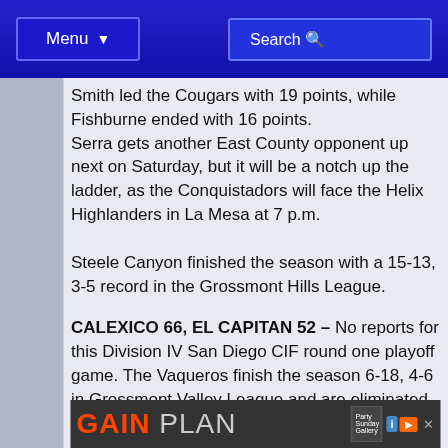Menu | Search
Smith led the Cougars with 19 points, while Fishburne ended with 16 points.
Serra gets another East County opponent up next on Saturday, but it will be a notch up the ladder, as the Conquistadors will face the Helix Highlanders in La Mesa at 7 p.m.
Steele Canyon finished the season with a 15-13, 3-5 record in the Grossmont Hills League.
CALEXICO 66, EL CAPITAN 52 – No reports for this Division IV San Diego CIF round one playoff game. The Vaqueros finish the season 6-18, 4-6 in Grossmont Valley League and are eliminated from the playoffs.
[Figure (other): GAIN PLAN advertisement banner at the bottom of the page]